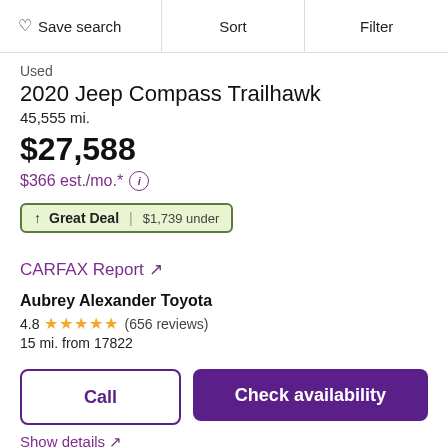♡ Save search | Sort | Filter
Used
2020 Jeep Compass Trailhawk
45,555 mi.
$27,588
$366 est./mo.*
↑ Great Deal | $1,739 under
CARFAX Report ↗
Aubrey Alexander Toyota
4.8 ★★★★★ (656 reviews)
15 mi. from 17822
Call
Check availability
Show details